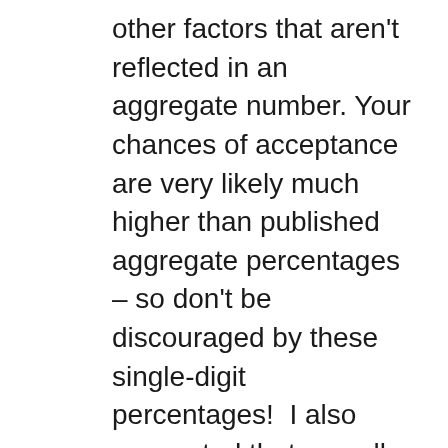other factors that aren't reflected in an aggregate number. Your chances of acceptance are very likely much higher than published aggregate percentages – so don't be discouraged by these single-digit percentages!  I also suggested that overall college rankings can be misleading as  a specific major may offer an exceptional educational experience which isn't reflected in each university's overall ranking – this often true for STEM, creative arts and business majors.  For example, Babson isn't a top 100 university- but it's a top 3 program in Entrepreneurship.  Consider the University of Florida, a top 50  university overall, but not all it's STEM majors reach the top 10.  Consider RISD or SCAD– top 5 in the arts, but neither a top 50 college.  Considering Physical Therapy- Ithaca College top 10 undergraduate program, but the university isn't a top 50.  With 3800+ universities to